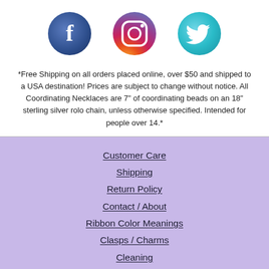[Figure (logo): Three social media icon circles: Facebook (dark blue with f), Instagram (gradient with camera icon), Twitter (teal with bird icon)]
*Free Shipping on all orders placed online, over $50 and shipped to a USA destination! Prices are subject to change without notice. All Coordinating Necklaces are 7" of coordinating beads on an 18" sterling silver rolo chain, unless otherwise specified. Intended for people over 14.*
Customer Care
Shipping
Return Policy
Contact / About
Ribbon Color Meanings
Clasps / Charms
Cleaning
[Figure (illustration): A handwritten signature in black ink on a lavender background]